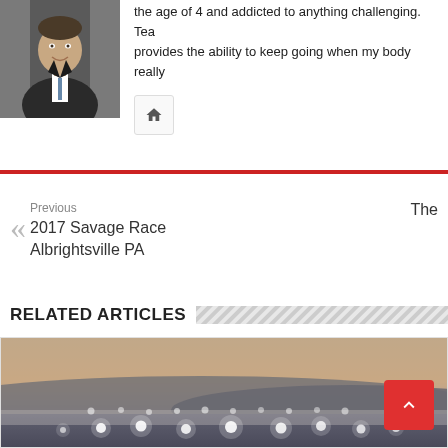[Figure (photo): Headshot of a man in a suit and tie, smiling, dark background]
the age of 4 and addicted to anything challenging. Tea provides the ability to keep going when my body really
[Figure (other): Home icon button]
Previous
2017 Savage Race Albrightsville PA
The
RELATED ARTICLES
[Figure (photo): Night or dusk outdoor scene with lights visible in a misty/foggy landscape, warm sky gradient]